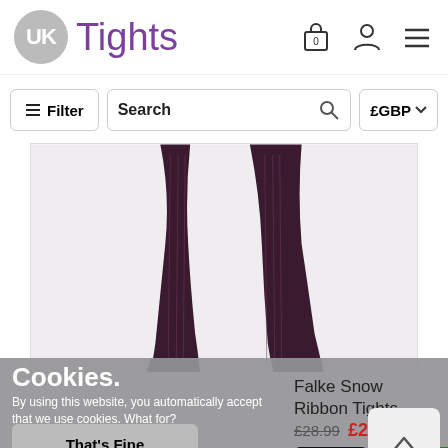UK Tights
Filter | Search | £GBP
[Figure (photo): Photo of legs wearing dark patterned tights with high heel shoes]
Falke Snow Ribbon Tights
Cookies. By using this website, you automatically accept that we use cookies. What for?
That's Fine
£28.99  £23.19
Full  Quick